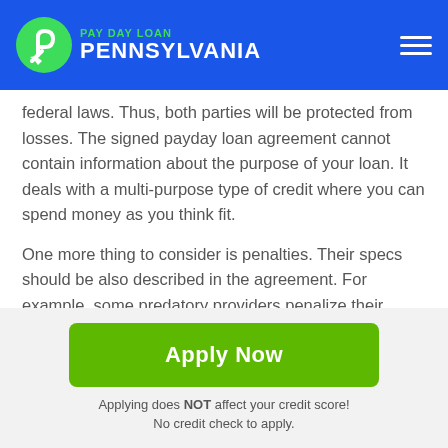PAY DAY LOAN PENNSYLVANIA
federal laws. Thus, both parties will be protected from losses. The signed payday loan agreement cannot contain information about the purpose of your loan. It deals with a multi-purpose type of credit where you can spend money as you think fit.
One more thing to consider is penalties. Their specs should be also described in the agreement. For example, some predatory providers penalize their clients with pre-paid charges. Try to escape such situations.
[Figure (other): Green Apply Now button]
Applying does NOT affect your credit score! No credit check to apply.